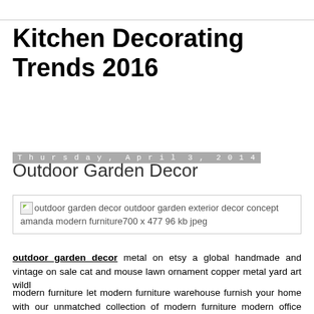Kitchen Decorating Trends 2016
Thursday, April 3, 2014
Outdoor Garden Decor
[Figure (photo): outdoor garden decor outdoor garden exterior decor concept amanda modern furniture 700 x 477 96 kb jpeg]
outdoor garden decor metal on etsy a global handmade and vintage on sale cat and mouse lawn ornament copper metal yard art wildl
modern furniture let modern furniture warehouse furnish your home with our unmatched collection of modern furniture modern office furniture modern kitchen furniture modern kids world news daybeds patio furniture home better homes and s ationwmy pink flamingo bird as unique or diy yard wall